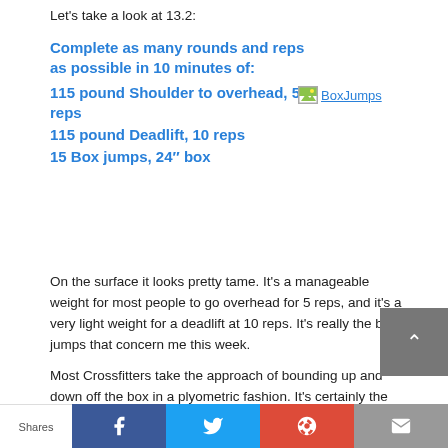Let's take a look at 13.2:
Complete as many rounds and reps as possible in 10 minutes of:
115 pound Shoulder to overhead, 5 reps
115 pound Deadlift, 10 reps
15 Box jumps, 24″ box
[Figure (photo): BoxJumps image placeholder with broken image icon and alt text 'BoxJumps']
On the surface it looks pretty tame. It's a manageable weight for most people to go overhead for 5 reps, and it's a very light weight for a deadlift at 10 reps. It's really the box jumps that concern me this week.
Most Crossfitters take the approach of bounding up and down off the box in a plyometric fashion. It's certainly the fastest
Shares  [Facebook] [Twitter] [G+] [Email]